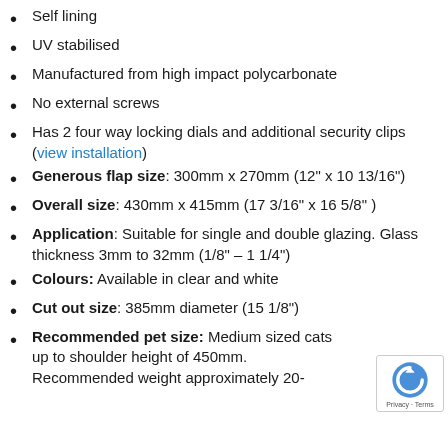Self lining
UV stabilised
Manufactured from high impact polycarbonate
No external screws
Has 2 four way locking dials and additional security clips (view installation)
Generous flap size: 300mm x 270mm (12" x 10 13/16")
Overall size: 430mm x 415mm (17 3/16" x 16 5/8" )
Application: Suitable for single and double glazing. Glass thickness 3mm to 32mm (1/8" – 1 1/4")
Colours: Available in clear and white
Cut out size: 385mm diameter (15 1/8")
Recommended pet size: Medium sized cats up to shoulder height of 450mm. Recommended weight approximately 20-